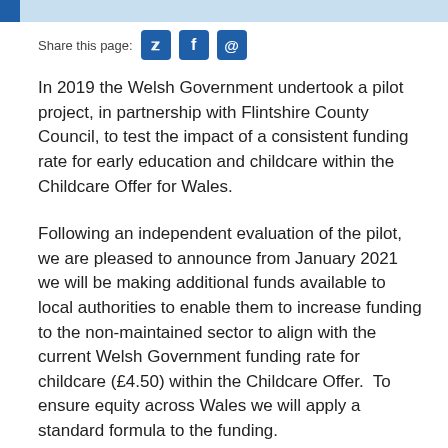Share this page:
In 2019 the Welsh Government undertook a pilot project, in partnership with Flintshire County Council, to test the impact of a consistent funding rate for early education and childcare within the Childcare Offer for Wales.
Following an independent evaluation of the pilot, we are pleased to announce from January 2021 we will be making additional funds available to local authorities to enable them to increase funding to the non-maintained sector to align with the current Welsh Government funding rate for childcare (£4.50) within the Childcare Offer.  To ensure equity across Wales we will apply a standard formula to the funding.